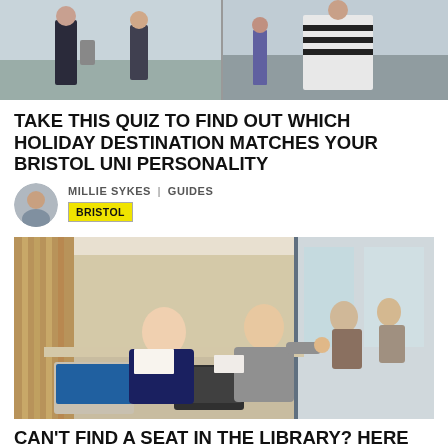[Figure (photo): Two side-by-side outdoor photos of students at what appears to be an airport or outdoor area]
TAKE THIS QUIZ TO FIND OUT WHICH HOLIDAY DESTINATION MATCHES YOUR BRISTOL UNI PERSONALITY
MILLIE SYKES | GUIDES
BRISTOL
[Figure (photo): Two students sitting at a library table with laptops, smiling and giving thumbs up]
CAN'T FIND A SEAT IN THE LIBRARY? HERE ARE 10 OF THE BEST CAFÉS IN BRISTOL TO